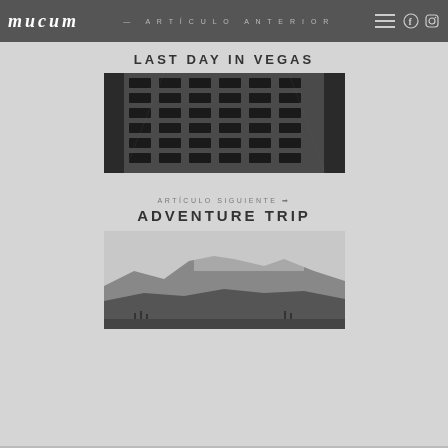mucum — ARTÍCULO ANTERIOR
LAST DAY IN VEGAS
[Figure (photo): Black and white upward photo of a tall building with grid-like window patterns]
ARTÍCULO SIGUIENTE → ADVENTURE TRIP
[Figure (photo): Black and white landscape photo of mountains with haze and small structures in foreground]